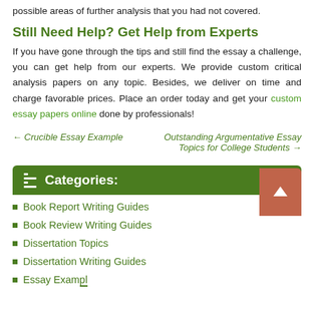possible areas of further analysis that you had not covered.
Still Need Help? Get Help from Experts
If you have gone through the tips and still find the essay a challenge, you can get help from our experts. We provide custom critical analysis papers on any topic. Besides, we deliver on time and charge favorable prices. Place an order today and get your custom essay papers online done by professionals!
← Crucible Essay Example
Outstanding Argumentative Essay Topics for College Students →
Categories:
Book Report Writing Guides
Book Review Writing Guides
Dissertation Topics
Dissertation Writing Guides
Essay Examples